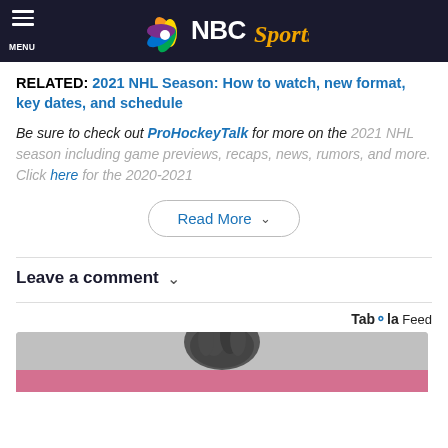NBC Sports
RELATED: 2021 NHL Season: How to watch, new format, key dates, and schedule
Be sure to check out ProHockeyTalk for more on the 2021 NHL season including game previews, recaps, news, rumors, and more. Click here for the 2020-2021
Read More
Leave a comment
Taboola Feed
[Figure (photo): Partial view of a person's head with dark hair against a pink/grey background]